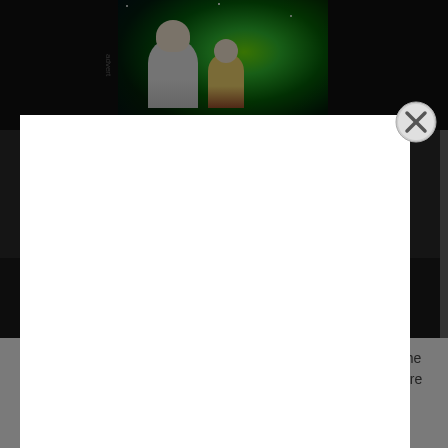[Figure (screenshot): Rick and Morty animated show advertisement banner at top of page. Shows cartoon characters Rick and Morty in front of a green portal. Text reads 'NEW SEASONS OF RICK & MORTY']
[Figure (screenshot): White modal/popup overlay covering the center of the page with a close (X) button in the top-right corner of the modal]
[Figure (screenshot): Dark image strip showing partially visible film-related images in the background behind the modal]
In 1996, leading film authorities believed the latest effort from the Coen Brothers was the overwhelming favorite to win Best Picture